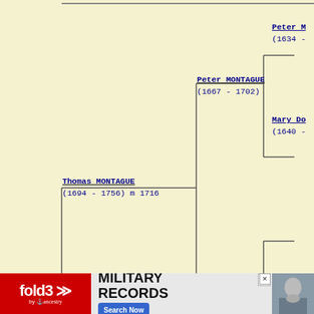[Figure (organizational-chart): Genealogy / family tree chart showing ancestors of Thomas MONTAGUE (1694-1756) m 1716. Parents: Peter MONTAGUE (1667-1702) and Elizabeth MORRIS (1670-....). Peter MONTAGUE's parents: Peter M (1634-) and Mary Do (1640-). Child shown: Thomas MONTAGUE (1719-1778). Spouse: Grace NICHOLSON (1699-1726) m 1716.]
[Figure (photo): fold3 by ancestry - MILITARY RECORDS advertisement banner at bottom of page]